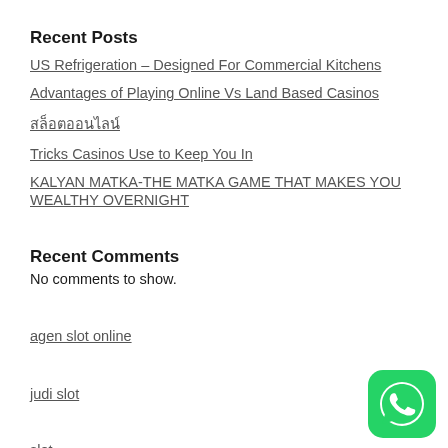Recent Posts
US Refrigeration – Designed For Commercial Kitchens
Advantages of Playing Online Vs Land Based Casinos
สล็อตออนไลน์
Tricks Casinos Use to Keep You In
KALYAN MATKA-THE MATKA GAME THAT MAKES YOU WEALTHY OVERNIGHT
Recent Comments
No comments to show.
agen slot online
judi slot
slot
[Figure (logo): WhatsApp icon button, green rounded square with white phone/chat icon]